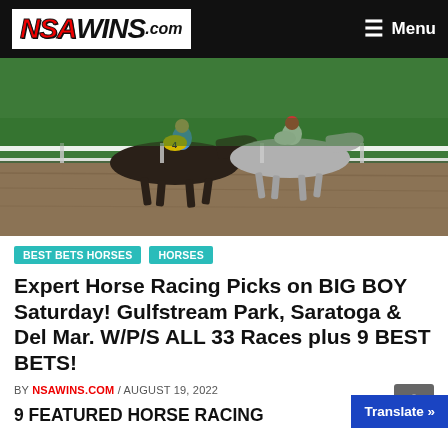NSAWINS.com — Menu
[Figure (photo): Two horse racing jockeys competing on a dirt track, with green grass and white rail fencing visible in the background. One horse is dark brown, the other is grey.]
BEST BETS HORSES  HORSES
Expert Horse Racing Picks on BIG BOY Saturday! Gulfstream Park, Saratoga & Del Mar. W/P/S ALL 33 Races plus 9 BEST BETS!
BY NSAWINS.COM / AUGUST 19, 2022
9 FEATURED HORSE RACING